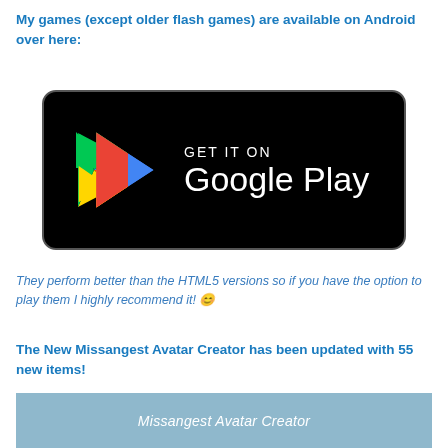My games (except older flash games) are available on Android over here:
[Figure (logo): Google Play Store badge: black rounded rectangle with Google Play triangle logo and text 'GET IT ON Google Play' in white]
They perform better than the HTML5 versions so if you have the option to play them I highly recommend it! 😊
The New Missangest Avatar Creator has been updated with 55 new items!
[Figure (screenshot): Missangest Avatar Creator banner with light blue background and illustrated avatar character]